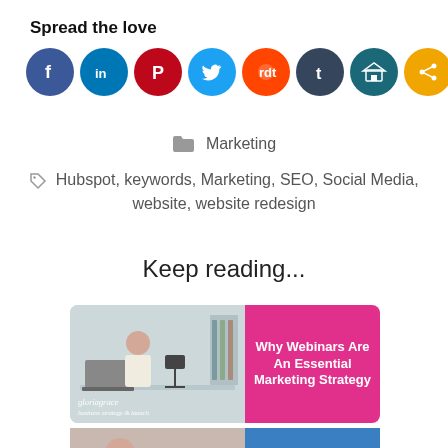Spread the love
[Figure (infographic): Row of 8 social media share buttons as colored circles: Facebook (blue), LinkedIn (blue), Pinterest (red), Twitter (light blue), Reddit (orange-red), Tumblr (dark teal), another icon (dark teal), Share (orange)]
Marketing
Hubspot, keywords, Marketing, SEO, Social Media, website, website redesign
Keep reading...
[Figure (photo): Blog post card showing a woman recording a webinar with a camera/laptop, with pink overlay text: 'Why Webinars Are An Essential Marketing Strategy' and a logo at the bottom left reading 'gloriagrace']